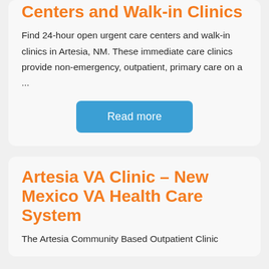Centers and Walk-in Clinics
Find 24-hour open urgent care centers and walk-in clinics in Artesia, NM. These immediate care clinics provide non-emergency, outpatient, primary care on a ...
Read more
Artesia VA Clinic – New Mexico VA Health Care System
The Artesia Community Based Outpatient Clinic